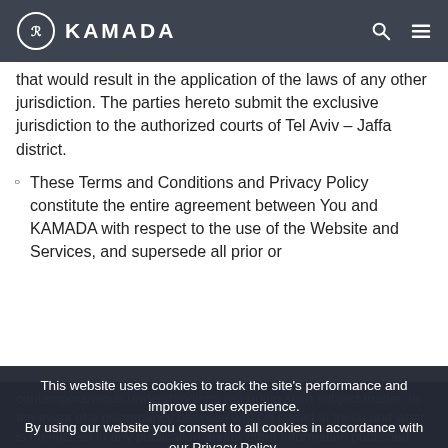KAMADA
that would result in the application of the laws of any other jurisdiction. The parties hereto submit the exclusive jurisdiction to the authorized courts of Tel Aviv – Jaffa district.
These Terms and Conditions and Privacy Policy constitute the entire agreement between You and KAMADA with respect to the use of the Website and Services, and supersede all prior or
contemporaneous understandings regarding such subject matter. In the event of a discrepancy between what is stated in these and what is mentioned in any publication and/or other information published and/or given by KAMADA and/or anyone on its behalf with regard to the
This website uses cookies to track the site's performance and improve user experience. By using our website you consent to all cookies in accordance with our Privacy Policy.
I Agree